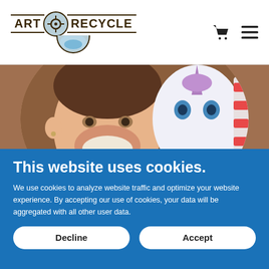ART © RECYCLE [logo with cart and menu icons]
[Figure (photo): A smiling man next to a white unicorn mascot costume, shown inside a circular crop. The background shows a carnival/fair setting.]
This website uses cookies.
We use cookies to analyze website traffic and optimize your website experience. By accepting our use of cookies, your data will be aggregated with all other user data.
Decline  |  Accept